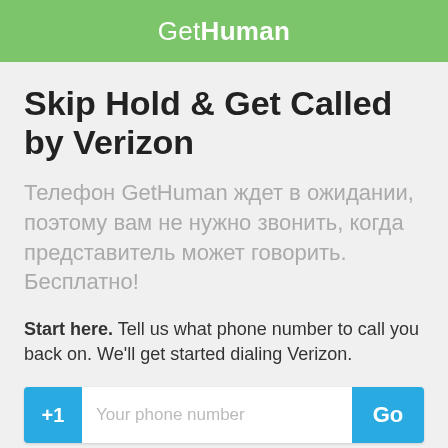GetHuman
Skip Hold & Get Called by Verizon
Телефон GetHuman ждет в ожидании, поэтому вам не нужно звонить, когда представитель может говорить. Бесплатно!
Start here. Tell us what phone number to call you back on. We'll get started dialing Verizon.
[Figure (screenshot): Phone number input field with +1 country code prefix on the left, placeholder text 'Your phone number', and a blue 'Go' button on the right]